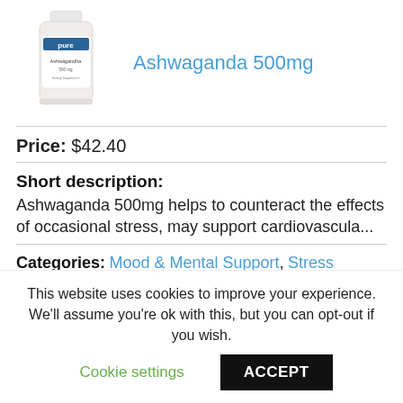[Figure (photo): Pure Encapsulations Ashwaganda supplement bottle, white with blue label]
Ashwaganda 500mg
Price: $42.40
Short description:
Ashwaganda 500mg helps to counteract the effects of occasional stress, may support cardiovascula...
Categories: Mood & Mental Support, Stress Management
[Figure (photo): Supplement bottle, white with red accent cap, partially visible]
This website uses cookies to improve your experience. We'll assume you're ok with this, but you can opt-out if you wish.
Cookie settings
ACCEPT